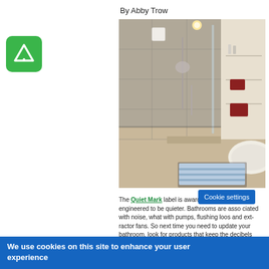By Abby Trow
[Figure (photo): Modern bathroom interior with large walk-in shower featuring glass panel, grey tiles, rainfall showerhead, freestanding bathtub, and blue striped bath mat]
The Quiet Mark label is awarded to products engineered to be quieter. Bathrooms are associated with noise, what with pumps, flushing loos and ext... next time you need to update your bathroom, ... that keep the decibels down, s... le of the night without waking th...
Cookie settings
We use cookies on this site to enhance your user experience